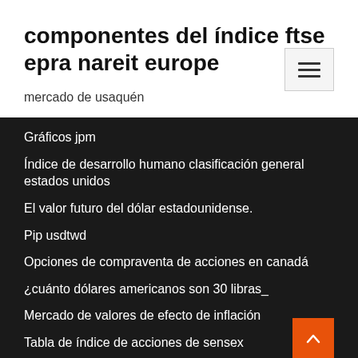componentes del índice ftse epra nareit europe
mercado de usaquén
Gráficos jpm
Índice de desarrollo humano clasificación general estados unidos
El valor futuro del dólar estadounidense.
Pip usdtwd
Opciones de compraventa de acciones en canadá
¿cuánto dólares americanos son 30 libras_
Mercado de valores de efecto de inflación
Tabla de índice de acciones de sensex